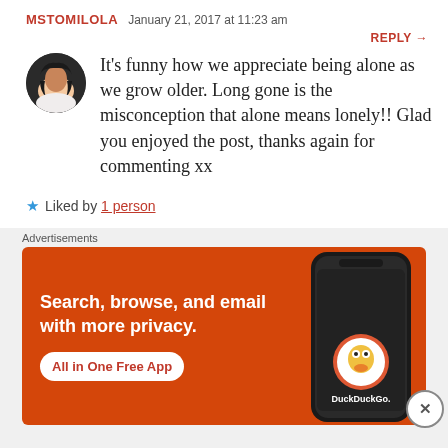MSTOMILOLA  January 21, 2017 at 11:23 am
REPLY →
[Figure (photo): Circular avatar photo of a woman]
It's funny how we appreciate being alone as we grow older. Long gone is the misconception that alone means lonely!! Glad you enjoyed the post, thanks again for commenting xx
★ Liked by 1 person
Advertisements
[Figure (screenshot): DuckDuckGo advertisement banner: Search, browse, and email with more privacy. All in One Free App]